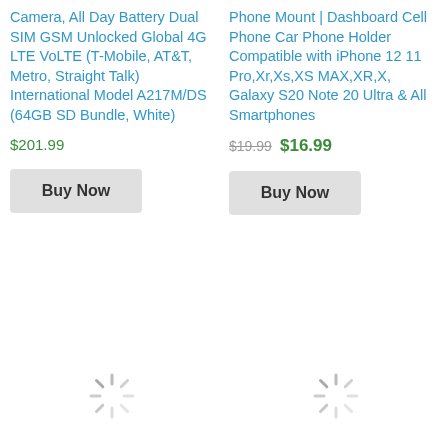Camera, All Day Battery Dual SIM GSM Unlocked Global 4G LTE VoLTE (T-Mobile, AT&T, Metro, Straight Talk) International Model A217M/DS (64GB SD Bundle, White)
Phone Mount | Dashboard Cell Phone Car Phone Holder Compatible with iPhone 12 11 Pro,Xr,Xs,XS MAX,XR,X, Galaxy S20 Note 20 Ultra & All Smartphones
$201.99
$19.99 $16.99
Buy Now
Buy Now
[Figure (other): Loading spinner icon (gray radial lines forming a circular spinner)]
[Figure (other): Loading spinner icon (gray radial lines forming a circular spinner)]